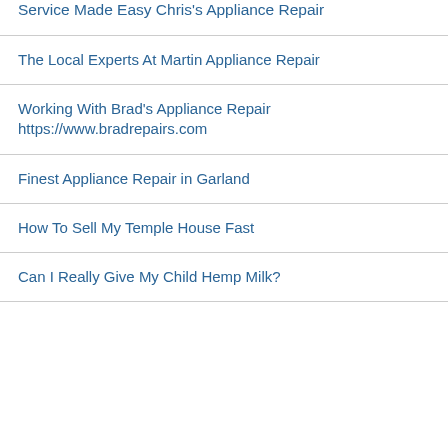Service Made Easy Chris's Appliance Repair
The Local Experts At Martin Appliance Repair
Working With Brad's Appliance Repair https://www.bradrepairs.com
Finest Appliance Repair in Garland
How To Sell My Temple House Fast
Can I Really Give My Child Hemp Milk?